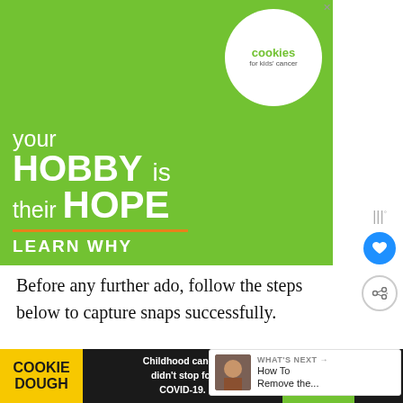[Figure (illustration): Advertisement banner for 'Cookies for Kids Cancer' showing hands holding a heart-shaped cookie on a green background. Text reads 'your HOBBY is their HOPE' with 'LEARN WHY' below an orange divider. Circular logo says 'cookies for kids cancer'.]
Before any further ado, follow the steps below to capture snaps successfully.
1. Launch Snapchat and log in. If you don't
[Figure (illustration): Bottom advertisement bar for Cookie Dough / Cookies for Kids' Cancer. Text: 'COOKIE DOUGH', 'Childhood cancer didn't stop for COVID-19.', 'GET BAKING']